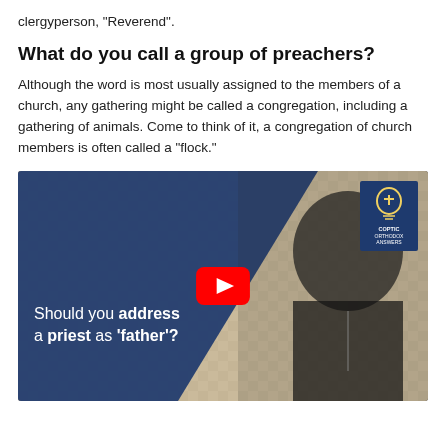clergyperson, “Reverend”.
What do you call a group of preachers?
Although the word is most usually assigned to the members of a church, any gathering might be called a congregation, including a gathering of animals. Come to think of it, a congregation of church members is often called a “flock.”
[Figure (screenshot): YouTube video thumbnail showing a Coptic Orthodox priest in black robes with a cross necklace, standing against a decorative mosaic background with a blue geometric overlay. Text reads 'Should you address a priest as ‘father’?' with a red YouTube play button. Coptic Orthodox Answers logo in top right corner.]